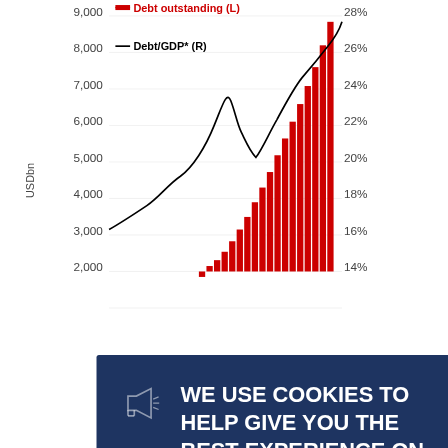[Figure (bar-chart): Debt outstanding and Debt/GDP]
[Figure (screenshot): Cookie consent overlay on a dark navy blue background. Text reads: 'WE USE COOKIES TO HELP GIVE YOU THE BEST EXPERIENCE ON OUR SITE. If you're okay with that, keep browsing. Read our cookie policy here.' with a close button.]
He...
The ... as to be... for othe... est in those areas that will generate returns to pay back the debt (e.g., factories or roads). But it is damaging if the money is used